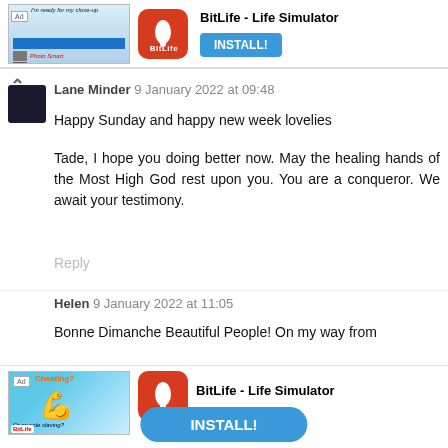[Figure (screenshot): Top advertisement banner for BitLife - Life Simulator app with INSTALL! button]
Lane Minder 9 January 2022 at 09:48
Happy Sunday and happy new week lovelies
Tade, I hope you doing better now. May the healing hands of the Most High God rest upon you. You are a conqueror. We await your testimony.
Reply
Helen 9 January 2022 at 11:05
Bonne Dimanche Beautiful People! On my way from
[Figure (screenshot): Bottom advertisement banner for BitLife - Life Simulator app with INSTALL! button]